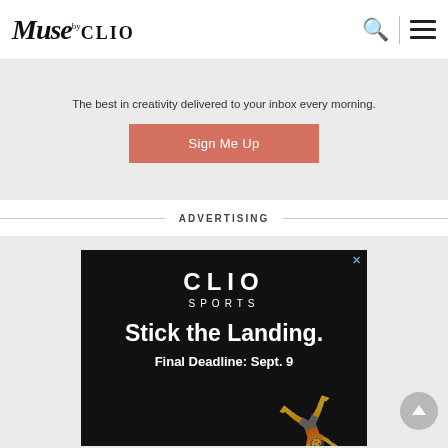Muse by CLIO
The best in creativity delivered to your inbox every morning.
Sign Me Up
ADVERTISING
[Figure (screenshot): CLIO Sports advertisement banner on black background with text: Stick the Landing. Final Deadline: Sept. 9]